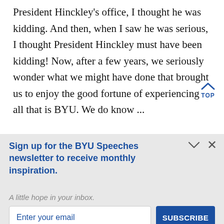President Hinckley's office, I thought he was kidding. And then, when I saw he was serious, I thought President Hinckley must have been kidding! Now, after a few years, we seriously wonder what we might have done that brought us to enjoy the good fortune of experiencing all that is BYU. We do know ...
Sign up for the BYU Speeches newsletter to receive monthly inspiration.
A little hope in your inbox.
Enter your email
SUBSCRIBE